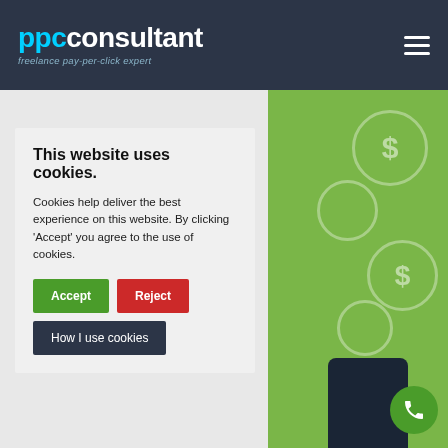[Figure (logo): PPC Consultant logo with text 'ppc' in cyan and 'consultant' in white, tagline 'freelance pay-per-click expert' in light blue-grey, on dark navy background]
This website uses cookies.
Cookies help deliver the best experience on this website. By clicking 'Accept' you agree to the use of cookies.
Accept
Reject
How I use cookies